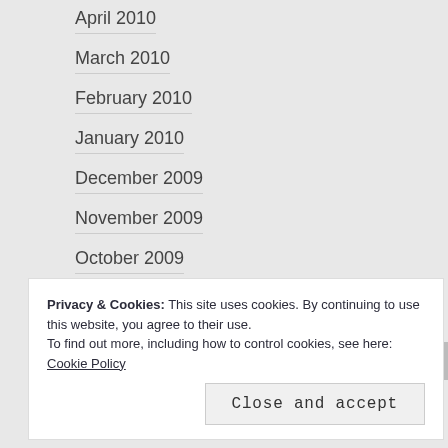April 2010
March 2010
February 2010
January 2010
December 2009
November 2009
October 2009
August 2009
July 2009
June 2009
Privacy & Cookies: This site uses cookies. By continuing to use this website, you agree to their use.
To find out more, including how to control cookies, see here: Cookie Policy
Close and accept